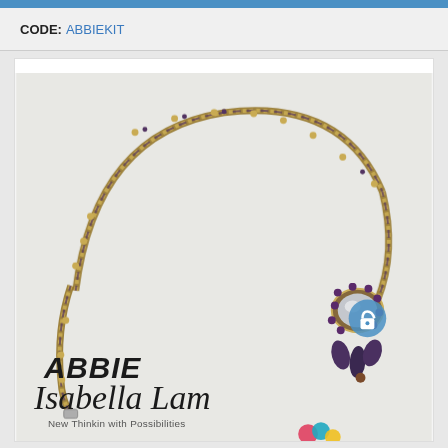CODE: ABBIEKIT
[Figure (photo): Product photo of the ABBIE beaded necklace by Isabella Lam, showing an intricate beaded chain in gold and dark purple/bronze tones with a crystal pendant and decorative leaf-shaped drops. The image includes the text 'ABBIE' and 'Isabella Lam' with tagline 'New Thinkin with Possibilities'.]